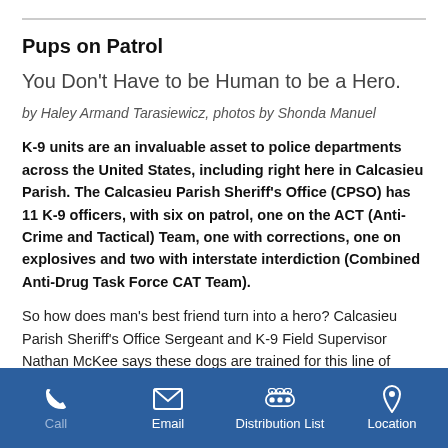Pups on Patrol
You Don't Have to be Human to be a Hero.
by Haley Armand Tarasiewicz, photos by Shonda Manuel
K-9 units are an invaluable asset to police departments across the United States, including right here in Calcasieu Parish. The Calcasieu Parish Sheriff's Office (CPSO) has 11 K-9 officers, with six on patrol, one on the ACT (Anti-Crime and Tactical) Team, one with corrections, one on explosives and two with interstate interdiction (Combined Anti-Drug Task Force CAT Team).
So how does man's best friend turn into a hero? Calcasieu Parish Sheriff's Office Sergeant and K-9 Field Supervisor Nathan McKee says these dogs are trained for this line of work. "The CPSO uses an outside vendor to recruit K-9 officers. The dogs begin their training with the vendor when they are puppies and usually come to us around two years of age. Once they are selected for law...
Call | Email | Distribution List | Location